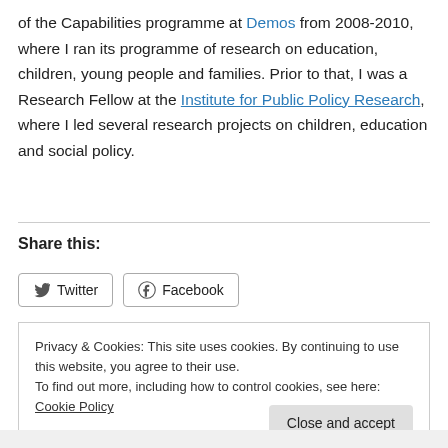of the Capabilities programme at Demos from 2008-2010, where I ran its programme of research on education, children, young people and families. Prior to that, I was a Research Fellow at the Institute for Public Policy Research, where I led several research projects on children, education and social policy.
Share this:
Twitter  Facebook
Privacy & Cookies: This site uses cookies. By continuing to use this website, you agree to their use. To find out more, including how to control cookies, see here: Cookie Policy